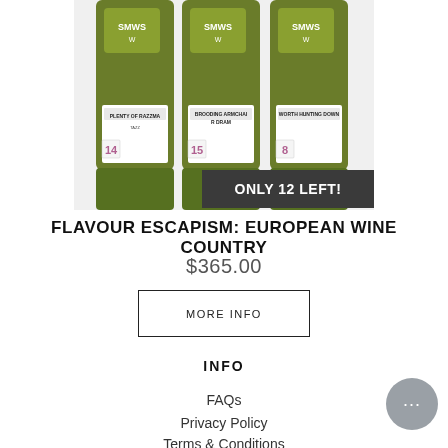[Figure (photo): Three green bottles of Scotch whisky with white labels: 'Plenty of Razzmatazz', 'Brooding Armchair Dram', and 'Worth Hunting Down', all from SMWS. A dark badge reads 'ONLY 12 LEFT!']
FLAVOUR ESCAPISM: EUROPEAN WINE COUNTRY
$365.00
MORE INFO
INFO
FAQs
Privacy Policy
Terms & Conditions